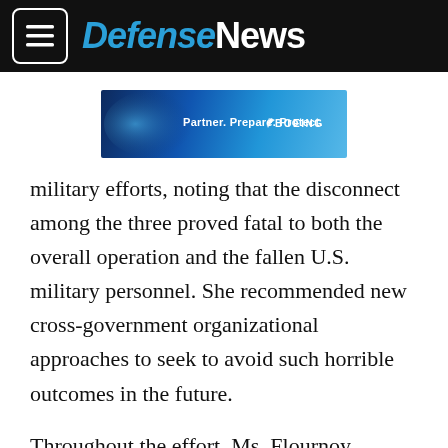DefenseNews
[Figure (illustration): Boeing advertisement banner: 'Partner. Prepare. Protect.' with Boeing logo on blue background]
military efforts, noting that the disconnect among the three proved fatal to both the overall operation and the fallen U.S. military personnel. She recommended new cross-government organizational approaches to seek to avoid such horrible outcomes in the future.
Throughout the effort, Ms. Flournoy worked extremely closely with key U.S. armed forces personnel across the broad expanse